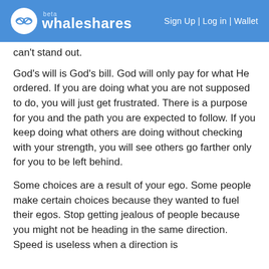whaleshares beta | Sign Up | Log in | Wallet
can't stand out.
God's will is God's bill. God will only pay for what He ordered. If you are doing what you are not supposed to do, you will just get frustrated. There is a purpose for you and the path you are expected to follow. If you keep doing what others are doing without checking with your strength, you will see others go farther only for you to be left behind.
Some choices are a result of your ego. Some people make certain choices because they wanted to fuel their egos. Stop getting jealous of people because you might not be heading in the same direction. Speed is useless when a direction is